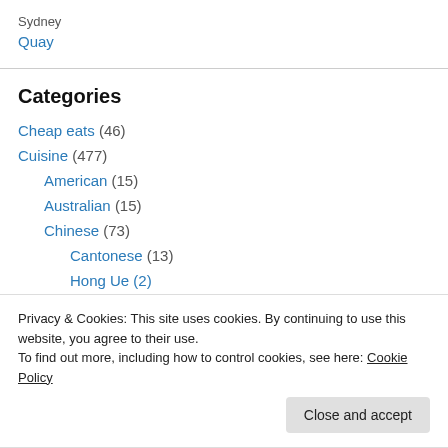Sydney
Quay
Categories
Cheap eats (46)
Cuisine (477)
American (15)
Australian (15)
Chinese (73)
Cantonese (13)
Hong Ue (2)
Privacy & Cookies: This site uses cookies. By continuing to use this website, you agree to their use. To find out more, including how to control cookies, see here: Cookie Policy
Belgian (2)